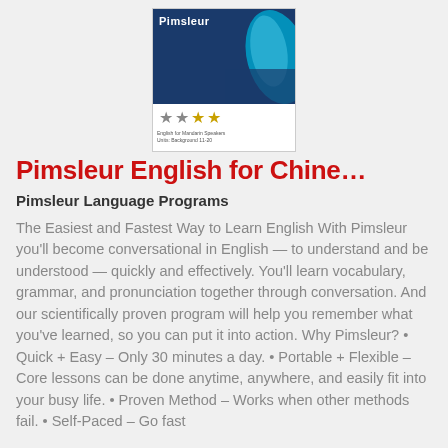[Figure (photo): Pimsleur product box image showing the Pimsleur brand logo with a blue feather/flame graphic and star ratings below it. Small text reads 'English for Mandarin Speakers'.]
Pimsleur English for Chine…
Pimsleur Language Programs
The Easiest and Fastest Way to Learn English With Pimsleur you'll become conversational in English — to understand and be understood — quickly and effectively. You'll learn vocabulary, grammar, and pronunciation together through conversation. And our scientifically proven program will help you remember what you've learned, so you can put it into action. Why Pimsleur? • Quick + Easy – Only 30 minutes a day. • Portable + Flexible – Core lessons can be done anytime, anywhere, and easily fit into your busy life. • Proven Method – Works when other methods fail. • Self-Paced – Go fast